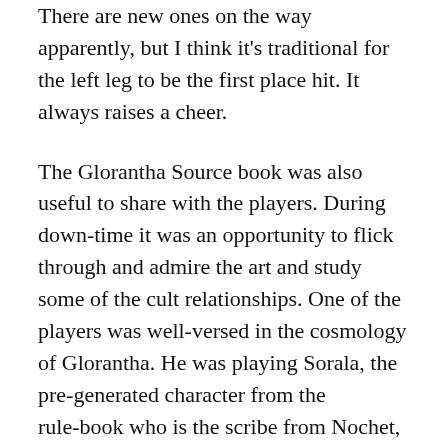There are new ones on the way apparently, but I think it's traditional for the left leg to be the first place hit. It always raises a cheer.
The Glorantha Source book was also useful to share with the players. During down-time it was an opportunity to flick through and admire the art and study some of the cult relationships. One of the players was well-versed in the cosmology of Glorantha. He was playing Sorala, the pre-generated character from the rule-book who is the scribe from Nochet, an initiate of Lhankor May. I was very grateful when he provided information about Dragon Pass at different points during play as it prevented a GM info-dump.